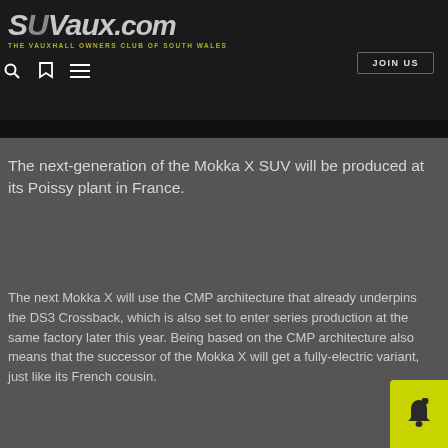SWVaux.com — THE VAUXHALL OWNERS CLUB OF SOUTH WALES
The next-generation of the Mokka X SUV will be produced at its Poissy plant in France.
The next Mokka X will use the CMP architecture that already underpins the DS3 Crossback, which is also set to enter series production at the same factory later this year. Being based on the CMP architecture also means that the successor of the Mokka X will get a fully-electric variant, just like its French cousin.